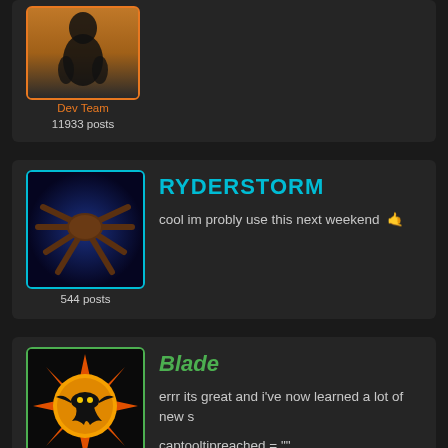[Figure (screenshot): Forum post avatar for Dev Team user with silhouette image, orange border, label 'Dev Team', '11933 posts']
RYDERSTORM
[Figure (screenshot): Forum post avatar for RYDERSTORM showing dark blue background with creature/bird silhouette, cyan border, '544 posts']
cool im probly use this next weekend 🤙
Blade
[Figure (screenshot): Forum post avatar for Blade (Donator) showing flaming sun/bird logo on black background, green border, 'Donator', '1801 posts']
errr its great and i've now learned a lot of new s
captooltipreached = ""
displays a tooltip when the cap has been maxed captooltipreached = "Already researched"